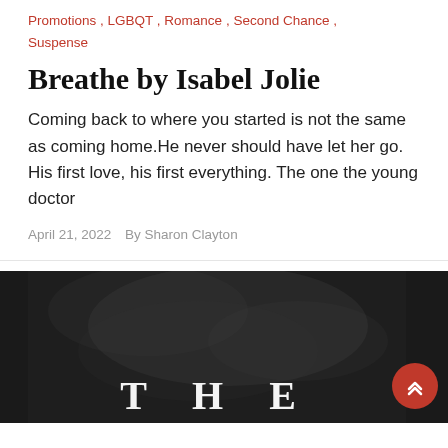Promotions , LGBQT , Romance , Second Chance , Suspense
Breathe by Isabel Jolie
Coming back to where you started is not the same as coming home.He never should have let her go. His first love, his first everything. The one the young doctor
April 21, 2022   By Sharon Clayton
[Figure (photo): Dark book cover image with smoky background and large white text reading 'THE' at the bottom]